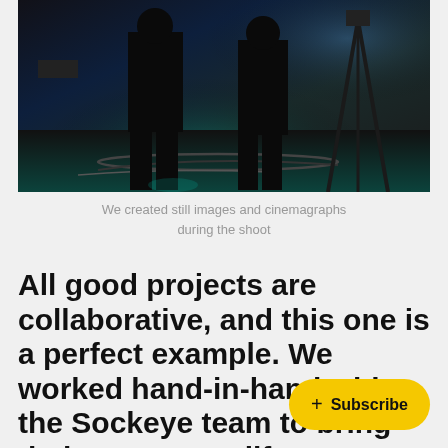[Figure (photo): Dark photograph showing silhouettes of two people standing on a studio floor with cables and lighting equipment, teal/blue ambient light, tripod visible on right side]
We created still images and cinemagraphs during the shoot
All good projects are collaborative, and this one is a perfect example. We worked hand-in-hand with the Sockeye team to bring their c… life.